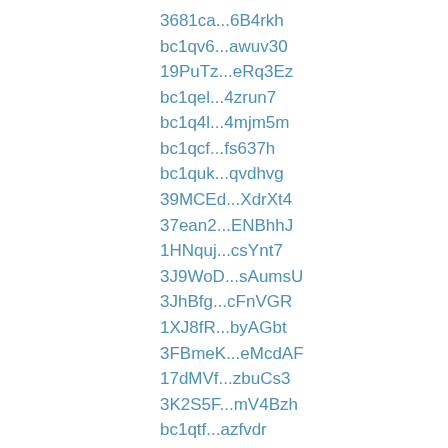3681ca...6B4rkh
bc1qv6...awuv30
19PuTz...eRq3Ez
bc1qel...4zrun7
bc1q4l...4mjm5m
bc1qcf...fs637h
bc1quk...qvdhvg
39MCEd...XdrXt4
37ean2...ENBhhJ
1HNquj...csYnt7
3J9WoD...sAumsU
3JhBfg...cFnVGR
1XJ8fR...byAGbt
3FBmeK...eMcdAF
17dMVf...zbuCs3
3K2S5F...mV4Bzh
bc1qtf...azfvdr
bc1q9j...qz06x2
3AVqkb...MvdJ9R
33ax1R...jbZXSb
bc1qfe...cdyk77